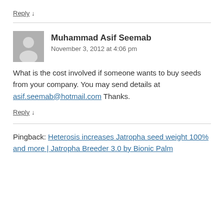Reply ↓
Muhammad Asif Seemab
November 3, 2012 at 4:06 pm
What is the cost involved if someone wants to buy seeds from your company. You may send details at asif.seemab@hotmail.com Thanks.
Reply ↓
Pingback: Heterosis increases Jatropha seed weight 100% and more | Jatropha Breeder 3.0 by Bionic Palm